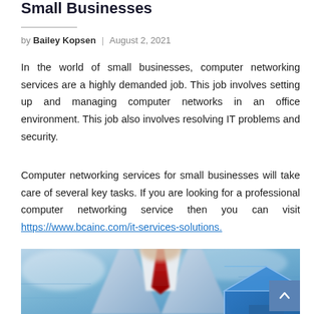Small Businesses
by Bailey Kopsen | August 2, 2021
In the world of small businesses, computer networking services are a highly demanded job. This job involves setting up and managing computer networks in an office environment. This job also involves resolving IT problems and security.
Computer networking services for small businesses will take care of several key tasks. If you are looking for a professional computer networking service then you can visit https://www.bcainc.com/it-services-solutions.
[Figure (photo): A man in a business suit and red tie standing in front of a blurred blue IT/network themed background with a blue house-shaped icon overlay]